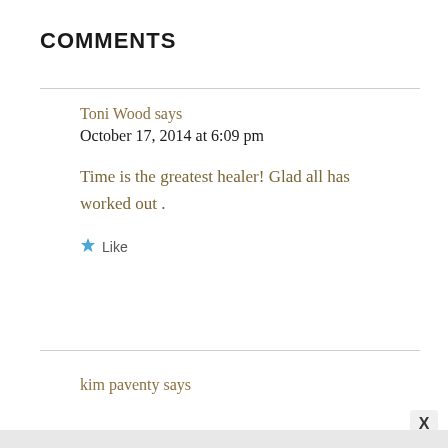COMMENTS
Toni Wood says
October 17, 2014 at 6:09 pm
Time is the greatest healer! Glad all has worked out .
★ Like
kim paventy says